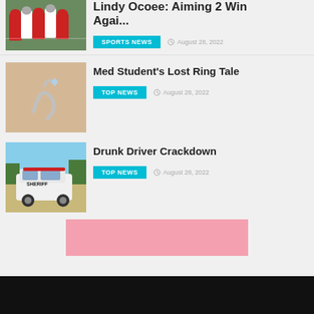[Figure (photo): Football players on field (partially visible)]
Lindy Ocoee: Aiming 2 Win Agai...
SPORTS NEWS   August 28, 2022
[Figure (photo): A bent ring on a hand]
Med Student's Lost Ring Tale
TOP NEWS   August 28, 2022
[Figure (photo): Sheriff police SUV vehicle]
Drunk Driver Crackdown
TOP NEWS   August 28, 2022
[Figure (other): Pink advertisement banner]
[Figure (other): Black footer bar]